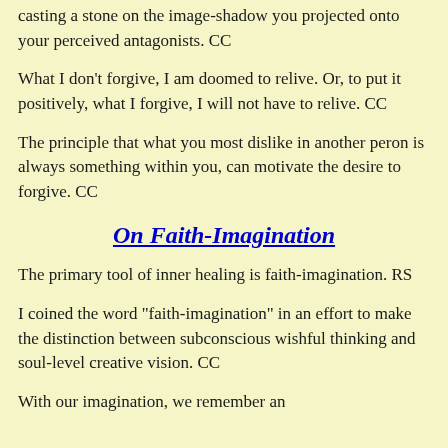casting a stone on the image-shadow you projected onto your perceived antagonists. CC
What I don’t forgive, I am doomed to relive. Or, to put it positively, what I forgive, I will not have to relive. CC
The principle that what you most dislike in another peron is always something within you, can motivate the desire to forgive. CC
On Faith-Imagination
The primary tool of inner healing is faith-imagination. RS
I coined the word "faith-imagination" in an effort to make the distinction between subconscious wishful thinking and soul-level creative vision. CC
With our imagination, we remember an